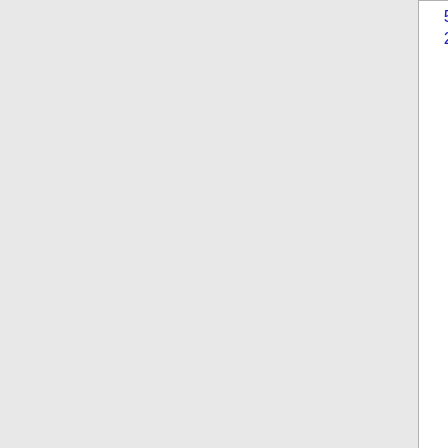| Number | State | Name | ID |
| --- | --- | --- | --- |
| 567-250-7 | OH | CENTURYLINK COMMUNICATIONS, LL (CenturyLink, Inc) | 5... |
| 567-250-8 | OH | TIME WARNER CABLE INFORMATION | 54... |
| 567-250-9 | OH | TIME WARNER CABLE INFORMATION | 54... |